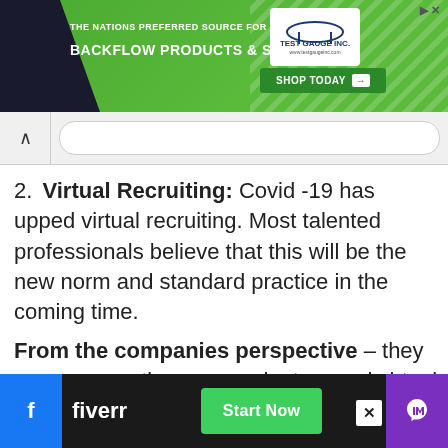[Figure (screenshot): Top advertisement banner for Test Gauge Inc. - green background with diagonal stripes, dark left shape, text 'THE NATIONS PREFERRED SOURCE FOR BACKFLOW PRODUCTS & SERVICES', logo box, and green 'SHOP TODAY' button]
[Figure (screenshot): Browser navigation bar with back arrow and URL input field]
Virtual Recruiting: Covid -19 has upped virtual recruiting. Most talented professionals believe that this will be the new norm and standard practice in the coming time.
From the companies perspective – they are now creating an – end – to – end virtual recruiting process; it has helped them reduce the co…
[Figure (screenshot): Bottom Fiverr advertisement bar with Facebook icon, Fiverr logo, Start Now green button, X close button, and purple phone icon button]